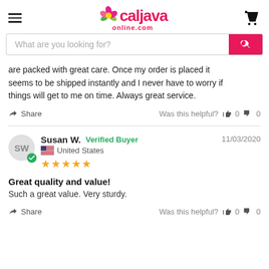[Figure (logo): CalJava Online logo with flower icon and shopping cart, plus hamburger menu]
[Figure (screenshot): Search bar with placeholder text 'What are you looking for?' and pink search button]
are packed with great care. Once my order is placed it seems to be shipped instantly and I never have to worry if things will get to me on time. Always great service.
Share   Was this helpful?  👍 0  👎 0
Susan W.  Verified Buyer  11/03/2020  United States  ★★★★★
Great quality and value!
Such a great value. Very sturdy.
Share   Was this helpful?  👍 0  👎 0